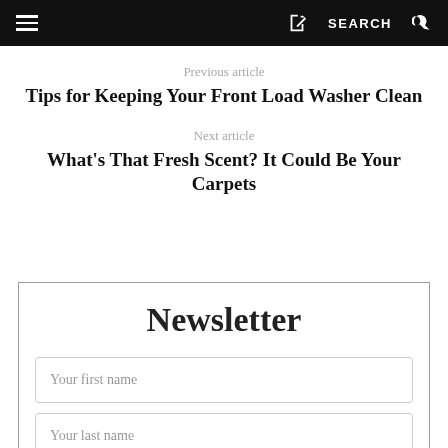Menu | Share | SEARCH
Previous article
Tips for Keeping Your Front Load Washer Clean
Next article
What's That Fresh Scent? It Could Be Your Carpets
Newsletter
Your first name
Your last name